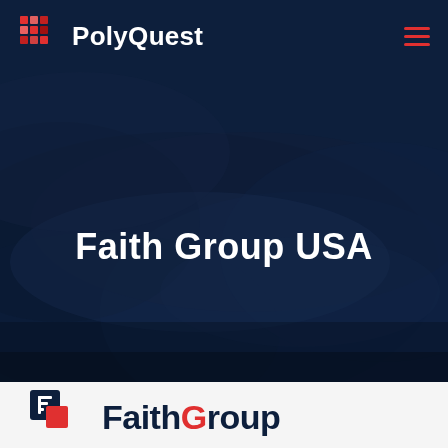PolyQuest
[Figure (screenshot): Hero section with dark navy blue textile/fabric background showing the text 'Faith Group USA' in large white bold font centered on the image]
[Figure (logo): FaithGroup logo partially visible at bottom of page, showing stylized 'F' icon in navy and red, with 'FaithGroup' text in dark navy blue]